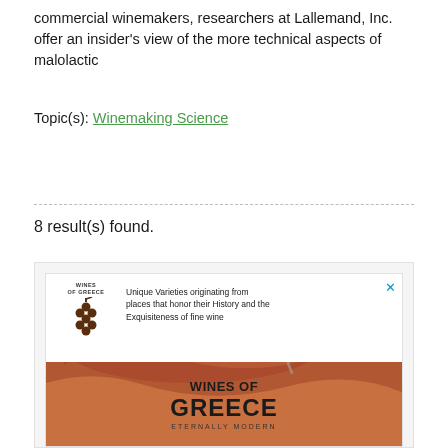commercial winemakers, researchers at Lallemand, Inc. offer an insider's view of the more technical aspects of malolactic
Topic(s): Winemaking Science
8 result(s) found.
[Figure (photo): Advertisement for Wines of Greece — Eternally Modern. Shows a wine splash image on an orange-toned background with the text 'WINES OF GREECE ETERNALLY MODERN' and a logo with grapes. Tagline: 'Unique Varieties originating from places that honor their History and the Exquisiteness of fine wine'.]